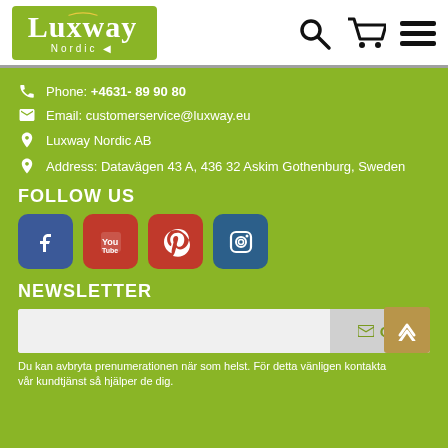[Figure (logo): Luxway Nordic logo on green background with yellow arc]
Phone: +4631- 89 90 80
Email: customerservice@luxway.eu
Luxway Nordic AB
Address: Datavägen 43 A, 436 32 Askim Gothenburg, Sweden
FOLLOW US
[Figure (illustration): Social media icons: Facebook, YouTube, Pinterest, Instagram]
NEWSLETTER
Du kan avbryta prenumerationen när som helst. För detta vänligen kontakta vår kundtjänst så hjälper de dig.